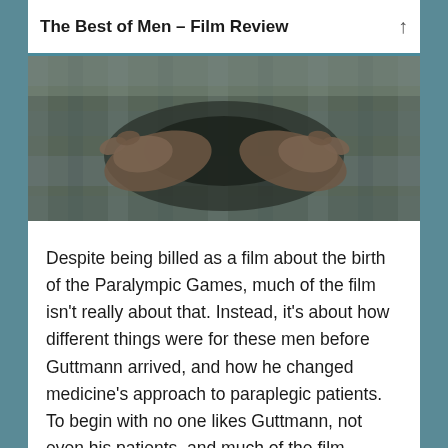The Best of Men – Film Review
[Figure (photo): A close-up photograph of hands, likely belonging to patients in a hospital setting, with plaid/checkered fabric visible in the background, from the film 'The Best of Men'.]
Despite being billed as a film about the birth of the Paralympic Games, much of the film isn't really about that. Instead, it's about how different things were for these men before Guttmann arrived, and how he changed medicine's approach to paraplegic patients. To begin with no one likes Guttmann, not even his patients, and much of the film focuses on him winning them over and helping these men to see that they still have lives worth living.